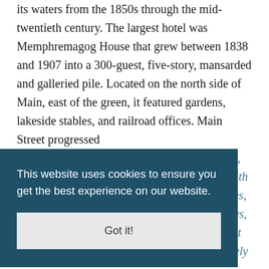its waters from the 1850s through the mid-twentieth century. The largest hotel was Memphremagog House that grew between 1838 and 1907 into a 300-guest, five-story, mansarded and galleried pile. Located on the north side of Main, east of the green, it featured gardens, lakeside stables, and railroad offices. Main Street progressed
West past an opera house and business blocks, then developed eastward with a connection with 2nd Street and then into a district of residences, churches, and schools. In Newport's glory days, from the 1880s to the new century, Main Street was an impressively flamboyant place of largely
This website uses cookies to ensure you get the best experience on our website.
Got it!